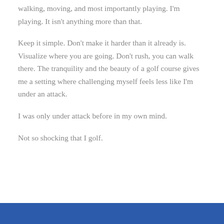walking, moving, and most importantly playing. I'm playing. It isn't anything more than that.
Keep it simple. Don't make it harder than it already is. Visualize where you are going. Don't rush, you can walk there. The tranquility and the beauty of a golf course gives me a setting where challenging myself feels less like I'm under an attack.
I was only under attack before in my own mind.
Not so shocking that I golf.
[Figure (other): Blue banner/bar at the bottom of the page]